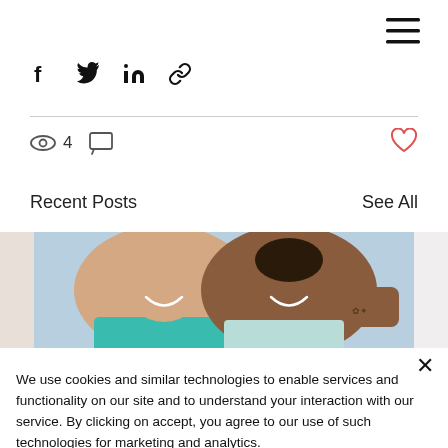[Figure (infographic): Hamburger menu icon (three horizontal lines) in top right corner]
[Figure (infographic): Social share icons row: Facebook (f), Twitter bird, LinkedIn (in), chain/link icon]
[Figure (infographic): Stats row: eye icon with count 4, comment bubble icon, heart (like) icon in red/outline on right]
Recent Posts
See All
[Figure (photo): Two smiling women looking down into camera, one wearing teal/turquoise top, photo partially cropped on left and right with beige/grey peek strips]
We use cookies and similar technologies to enable services and functionality on our site and to understand your interaction with our service. By clicking on accept, you agree to our use of such technologies for marketing and analytics.
Cookie Settings
Accept